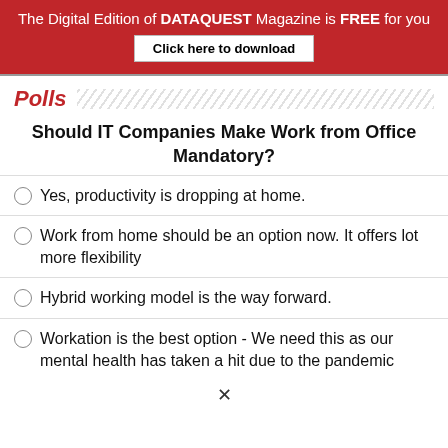The Digital Edition of DATAQUEST Magazine is FREE for you
Click here to download
Polls
Should IT Companies Make Work from Office Mandatory?
Yes, productivity is dropping at home.
Work from home should be an option now. It offers lot more flexibility
Hybrid working model is the way forward.
Workation is the best option - We need this as our mental health has taken a hit due to the pandemic